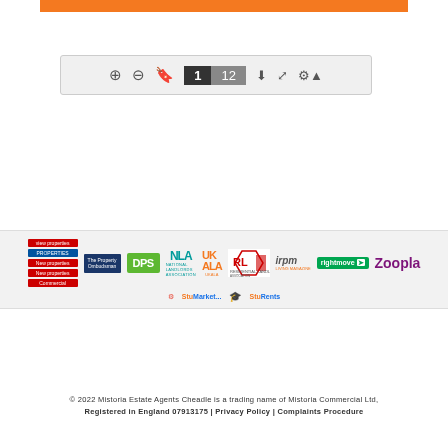[Figure (screenshot): Orange header bar at top of page]
[Figure (screenshot): PDF viewer toolbar with zoom, bookmark, page indicator (1 of 12), download, fullscreen, and settings icons]
[Figure (logo): Row of partner/membership logos: sidebar property links, The Property Ombudsman, DPS, NLA National Landlords Association, UKALA, RLA Residential Landlords Association, irpm, rightmove, Zoopla]
[Figure (logo): Second row of logos: StuMarket and StuRents]
© 2022 Mistoria Estate Agents Cheadle is a trading name of Mistoria Commercial Ltd, Registered in England 07913175 | Privacy Policy | Complaints Procedure